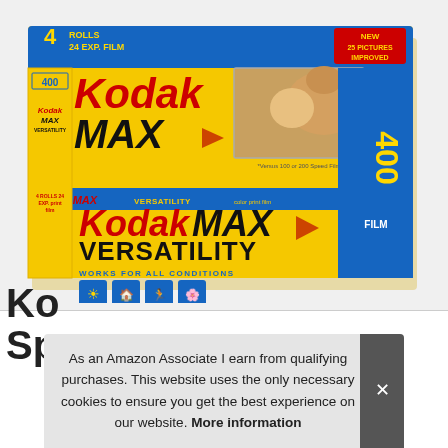[Figure (photo): Kodak MAX Versatility 400 film, 4 rolls 24 exp. film multipack box. Yellow and blue packaging showing 'Kodak MAX' branding in red and black, 'VERSATILITY', 'WORKS FOR ALL CONDITIONS', four condition icons, and a photo of a child with a golden retriever dog. Right spine shows '400 FILM' in blue. Left spine shows '400'. Top blue stripe shows '4 ROLLS 24 EXP. FILM' and a red 'NEW 25 PICTURES IMPROVED' badge. Product shown as stacked multipack box.]
As an Amazon Associate I earn from qualifying purchases. This website uses the only necessary cookies to ensure you get the best experience on our website. More information
Ko
Sp